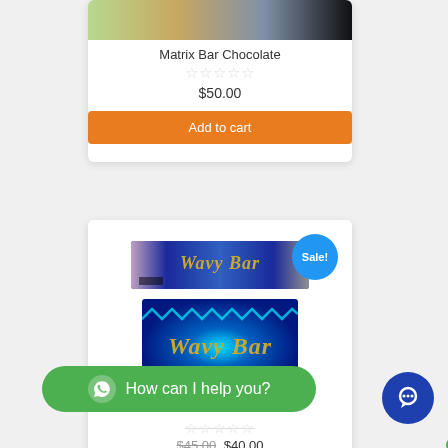[Figure (photo): Product image of Matrix Bar Chocolate with strawberries and Oreo cookies]
Matrix Bar Chocolate
☆☆☆☆☆
$50.00
Add to cart
Sale!
[Figure (photo): Wavy Bar chocolate product images — small bar wrapper and large bar with psychedelic blue pattern]
☆☆☆☆☆
$45.00 $40.00
How can I help you?